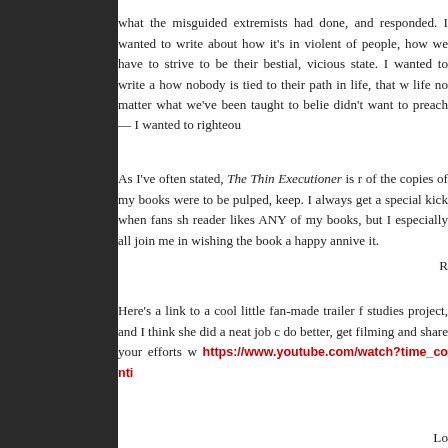[Figure (photo): Dark sidebar/panel on the left side of the page, dark grey/black background]
what the misguided extremists had done, and responded. I wanted to write about how it's in violent of people, how we have to strive to be their bestial, vicious state. I wanted to write a how nobody is tied to their path in life, that w life no matter what we've been taught to belie didn't want to preach -- I wanted to righteou
As I've often stated, The Thin Executioner is r of the copies of my books were to be pulped, keep. I always get a special kick when fans sh reader likes ANY of my books, but I especially all join me in wishing the book a happy annive it.
R
Here's a link to a cool little fan-made trailer f studies project, and I think she did a neat job c do better, get filming and share your efforts w https://www.youtube.com/watch?time_conti
Lo